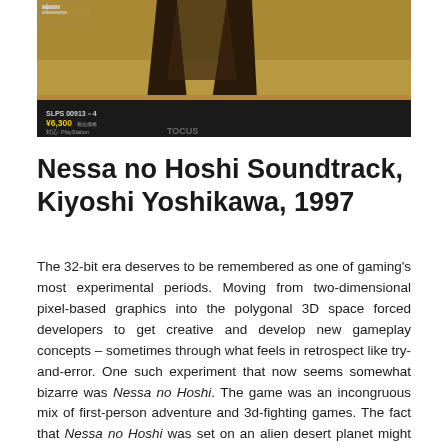[Figure (photo): Game cover/screenshot showing a figure with legs visible at top, and at bottom SLPS 00913-4, price ¥6,300, PlayStation branding, and partial logo text]
Nessa no Hoshi Soundtrack, Kiyoshi Yoshikawa, 1997
The 32-bit era deserves to be remembered as one of gaming's most experimental periods. Moving from two-dimensional pixel-based graphics into the polygonal 3D space forced developers to get creative and develop new gameplay concepts – sometimes through what feels in retrospect like try-and-error. One such experiment that now seems somewhat bizarre was Nessa no Hoshi. The game was an incongruous mix of first-person adventure and 3d-fighting games. The fact that Nessa no Hoshi was set on an alien desert planet might explain the game's